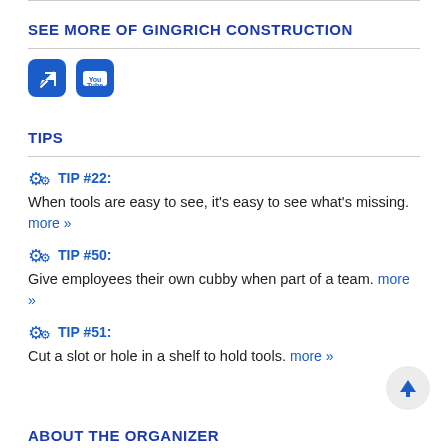SEE MORE OF GINGRICH CONSTRUCTION
[Figure (infographic): Two social media icons: a blue arrow/link icon and a YouTube icon]
TIPS
TIP #22: When tools are easy to see, it's easy to see what's missing. more »
TIP #50: Give employees their own cubby when part of a team. more »
TIP #51: Cut a slot or hole in a shelf to hold tools. more »
ABOUT THE ORGANIZER